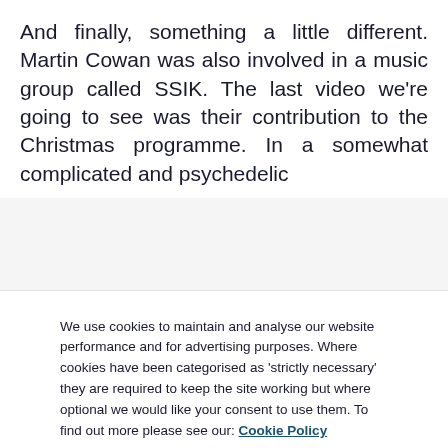And finally, something a little different. Martin Cowan was also involved in a music group called SSIK. The last video we're going to see was their contribution to the Christmas programme. In a somewhat complicated and psychedelic [cut off]
We use cookies to maintain and analyse our website performance and for advertising purposes. Where cookies have been categorised as 'strictly necessary' they are required to keep the site working but where optional we would like your consent to use them. To find out more please see our: Cookie Policy
Cookies Settings
Reject All
Accept All Cookies